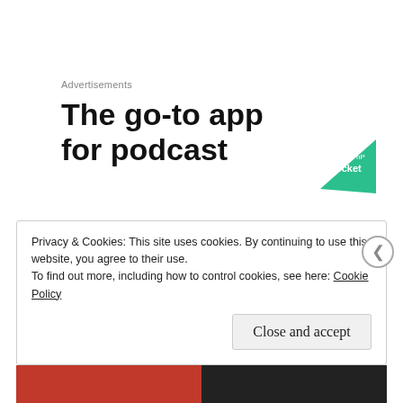Advertisements
The go-to app for podcast
[Figure (logo): Green triangular podcast app icon with white text overlay]
So maybe that is it. I have rediscovered delight. I am called to press into the gladness, with determination. With persistence. With poetry.
Privacy & Cookies: This site uses cookies. By continuing to use this website, you agree to their use.
To find out more, including how to control cookies, see here: Cookie Policy

Close and accept